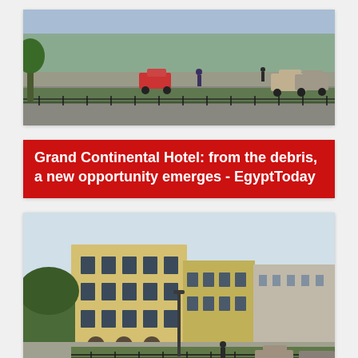[Figure (photo): Street scene with trees, pedestrians, parked cars, iron fence railings and greenery in foreground — appears to be a public square or boulevard in Cairo.]
Grand Continental Hotel: from the debris, a new opportunity emerges - EgyptToday
[Figure (photo): Grand Continental Hotel building — a large yellow multi-storey colonial-era building with arched windows and balconies facing a public square with trees and traffic. Cairo street scene.]
Grand Continental Hotel: from the debris, a new opportunity